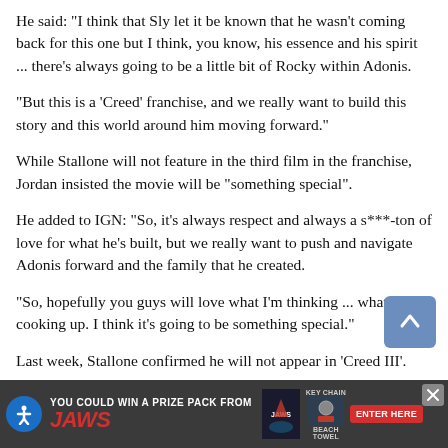He said: "I think that Sly let it be known that he wasn't coming back for this one but I think, you know, his essence and his spirit ... there's always going to be a little bit of Rocky within Adonis.
"But this is a 'Creed' franchise, and we really want to build this story and this world around him moving forward."
While Stallone will not feature in the third film in the franchise, Jordan insisted the movie will be "something special".
He added to IGN: "So, it's always respect and always a s***-ton of love for what he's built, but we really want to push and navigate Adonis forward and the family that he created.
"So, hopefully you guys will love what I'm thinking ... what we're cooking up. I think it's going to be something special."
Last week, Stallone confirmed he will not appear in 'Creed III'.
In an Instagram comment, he wrote: "It'll be done but I won't be in
[Figure (screenshot): Advertisement banner for JAWS prize pack promotion with accessibility button, JAWS logo, movie poster image, key chain and beach towel prizes, and an ENTER HERE button. Close button (X) in top right.]